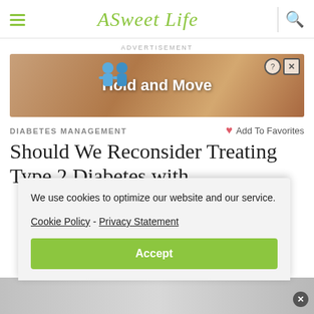ASweetLife
[Figure (screenshot): Advertisement banner showing 'Hold and Move' game with cartoon figures on a wooden background]
ADVERTISEMENT
DIABETES MANAGEMENT
Add To Favorites
Should We Reconsider Treating Type 2 Diabetes with
We use cookies to optimize our website and our service.
Cookie Policy - Privacy Statement
Accept